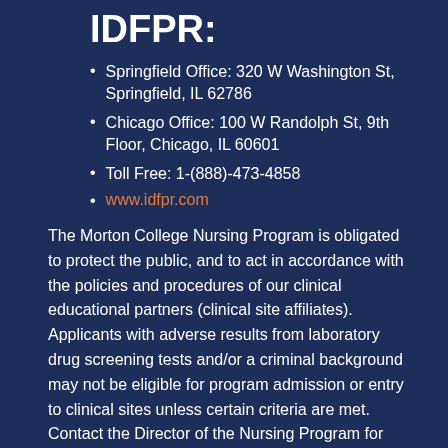IDFPR:
Springfield Office: 320 W Washington St, Springfield, IL 62786
Chicago Office: 100 W Randolph St, 9th Floor, Chicago, IL 60601
Toll Free: 1-(888)-473-4858
www.idfpr.com
The Morton College Nursing Program is obligated to protect the public, and to act in accordance with the policies and procedures of our clinical educational partners (clinical site affiliates). Applicants with adverse results from laboratory drug screening tests and/or a criminal background may not be eligible for program admission or entry to clinical sites unless certain criteria are met. Contact the Director of the Nursing Program for additional information.